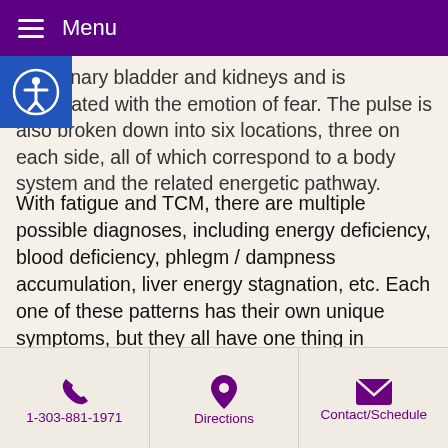Menu
the urinary bladder and kidneys and is associated with the emotion of fear. The pulse is also broken down into six locations, three on each side, all of which correspond to a body system and the related energetic pathway.
With fatigue and TCM, there are multiple possible diagnoses, including energy deficiency, blood deficiency, phlegm / dampness accumulation, liver energy stagnation, etc. Each one of these patterns has their own unique symptoms, but they all have one thing in common: feelings of fatigue. While there is not enough time to discuss all of the aforementioned patterns, some of the symptoms can include poor digestion, dizziness, shortness of breath, vision issues, mood swings, irritability, depression, chronic coughing, sinus conditions,
1-303-881-1971   Directions   Contact/Schedule